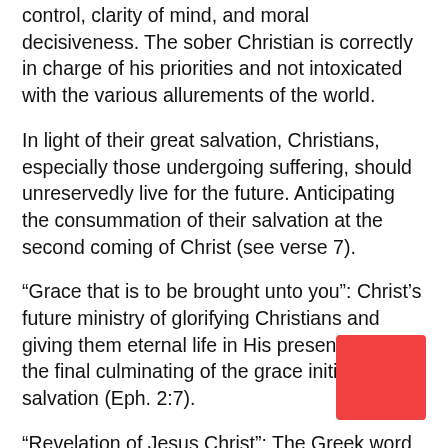control, clarity of mind, and moral decisiveness. The sober Christian is correctly in charge of his priorities and not intoxicated with the various allurements of the world.
In light of their great salvation, Christians, especially those undergoing suffering, should unreservedly live for the future. Anticipating the consummation of their salvation at the second coming of Christ (see verse 7).
“Grace that is to be brought unto you”: Christ’s future ministry of glorifying Christians and giving them eternal life in His presence will be the final culminating of the grace initiated at salvation (Eph. 2:7).
“Revelation of Jesus Christ”: The Greek word for “revelation” is the same word that is